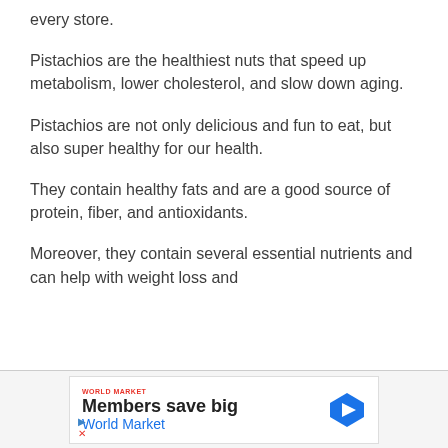every store.
Pistachios are the healthiest nuts that speed up metabolism, lower cholesterol, and slow down aging.
Pistachios are not only delicious and fun to eat, but also super healthy for our health.
They contain healthy fats and are a good source of protein, fiber, and antioxidants.
Moreover, they contain several essential nutrients and can help with weight loss and
[Figure (screenshot): Advertisement banner for World Market showing 'Members save big' text with a blue navigation arrow icon and small logo, with play and close/X controls at bottom left.]